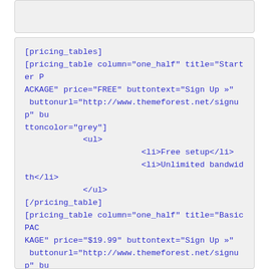[Figure (screenshot): Top partial code box showing cropped content at top of page]
[pricing_tables]
[pricing_table column="one_half" title="Starter PACKAGE" price="FREE" buttontext="Sign Up »" buttonurl="http://www.themeforest.net/signup" buttoncolor="grey"]
            <ul>
                        <li>Free setup</li>
                        <li>Unlimited bandwidth</li>
            </ul>
[/pricing_table]
[pricing_table column="one_half" title="Basic PACKAGE" price="$19.99" buttontext="Sign Up »" buttonurl="http://www.themeforest.net/signup" buttoncolor="black"]